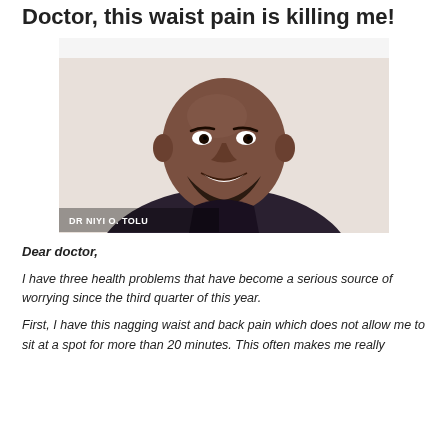Doctor, this waist pain is killing me!
[Figure (photo): Portrait photo of Dr Niyi O. Tolu, a smiling man wearing a dark shirt, with his name captioned in white text at the bottom left of the image.]
Dear doctor,
I have three health problems that have become a serious source of worrying since the third quarter of this year.
First, I have this nagging waist and back pain which does not allow me to sit at a spot for more than 20 minutes. This often makes me really